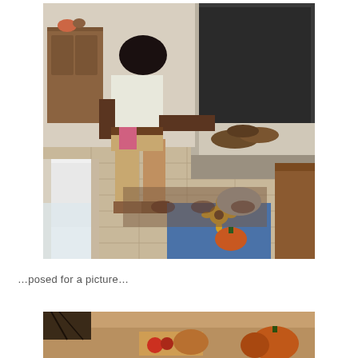[Figure (photo): Two people near a fireplace indoors. One person standing, wearing khaki shorts and a white top, bending over toward the fireplace. Another person crouching/sitting on the floor wearing a blue denim vest with sunflower and pumpkin embroidery. Chairs visible, tiled floor with a rug.]
…posed for a picture…
[Figure (photo): Partial bottom photo showing what appears to be a table or surface with autumn-themed decorations including pumpkins and possibly fruit.]